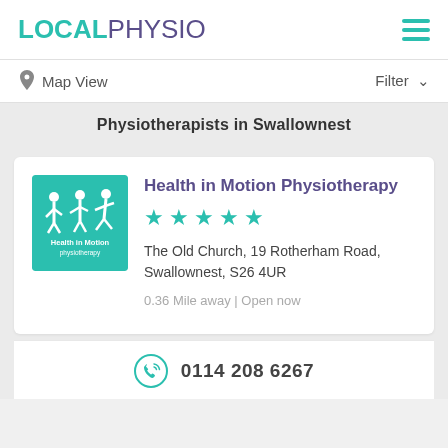[Figure (logo): LocalPhysio logo with LOCAL in teal/green bold and PHYSIO in purple regular weight, plus hamburger menu icon in teal]
Map View
Filter ∨
Physiotherapists in Swallownest
[Figure (logo): Health in Motion Physiotherapy logo - teal square with white silhouette figures walking/running and text Health in Motion physiotherapy]
Health in Motion Physiotherapy
★★★★★
The Old Church, 19 Rotherham Road, Swallownest, S26 4UR
0.36 Mile away | Open now
0114 208 6267